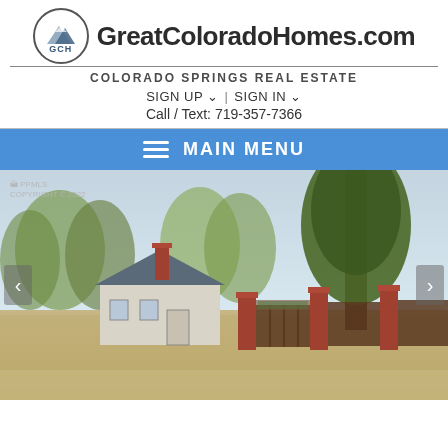[Figure (logo): GreatColoradoHomes.com logo with mountain/circle icon and GCH text]
GreatColoradoHomes.com
COLORADO SPRINGS REAL ESTATE
SIGN UP ∨  |  SIGN IN ∨
Call / Text: 719-357-7366
MAIN MENU
[Figure (photo): Exterior photo of a residential home in Colorado Springs with brick pillars, wooden fence, gravel driveway, and trees. Watermark reads PPMLS COPYRIGHT © 2022.]